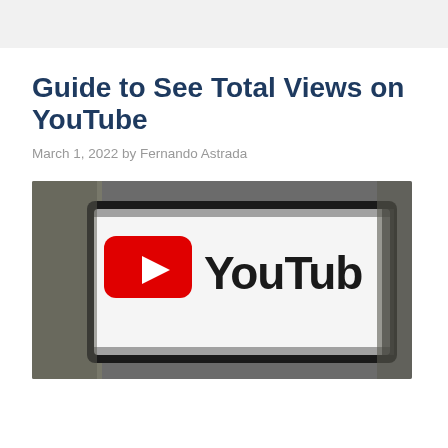Guide to See Total Views on YouTube
March 1, 2022 by Fernando Astrada
[Figure (photo): Close-up photo of a tablet or device screen displaying the YouTube logo — red rectangle with white play button triangle on the left, and the word 'YouTube' in black on a white background, partially cropped on the right side. Background is blurred dark/gray tones.]